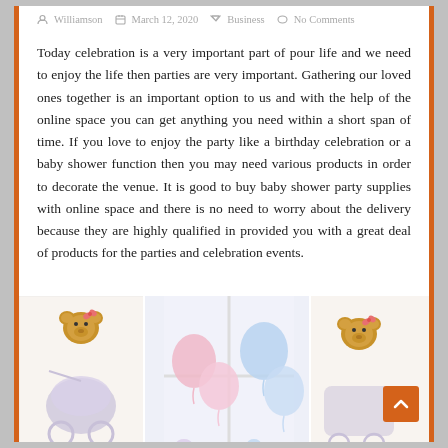Williamson   March 12, 2020   Business   No Comments
Today celebration is a very important part of pour life and we need to enjoy the life then parties are very important. Gathering our loved ones together is an important option to us and with the help of the online space you can get anything you need within a short span of time. If you love to enjoy the party like a birthday celebration or a baby shower function then you may need various products in order to decorate the venue. It is good to buy baby shower party supplies with online space and there is no need to worry about the delivery because they are highly qualified in provided you with a great deal of products for the parties and celebration events.
[Figure (photo): Baby shower party decorations showing teddy bear cutouts, pink and blue balloons against a white window background. Multiple panels showing the same theme.]